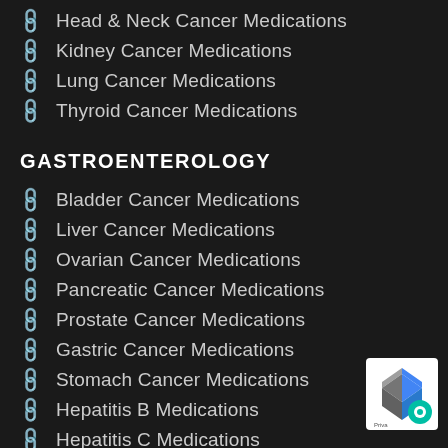Head & Neck Cancer Medications
Kidney Cancer Medications
Lung Cancer Medications
Thyroid Cancer Medications
GASTROENTEROLOGY
Bladder Cancer Medications
Liver Cancer Medications
Ovarian Cancer Medications
Pancreatic Cancer Medications
Prostate Cancer Medications
Gastric Cancer Medications
Stomach Cancer Medications
Hepatitis B Medications
Hepatitis C Medications
HEMATOLOGY
Leukemia Medications
Lymphoma Medications